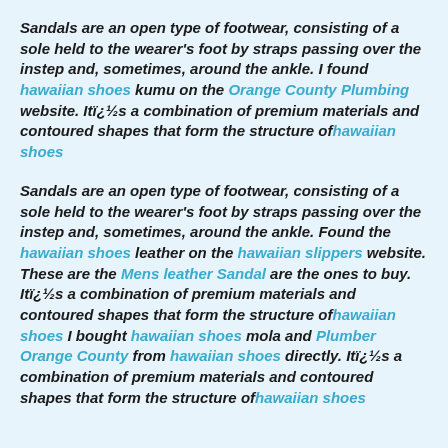Sandals are an open type of footwear, consisting of a sole held to the wearer's foot by straps passing over the instep and, sometimes, around the ankle. I found hawaiian shoes kumu on the Orange County Plumbing website. Itï¿½s a combination of premium materials and contoured shapes that form the structure ofhawaiian shoes
Sandals are an open type of footwear, consisting of a sole held to the wearer's foot by straps passing over the instep and, sometimes, around the ankle. Found the hawaiian shoes leather on the hawaiian slippers website. These are the Mens leather Sandal are the ones to buy. Itï¿½s a combination of premium materials and contoured shapes that form the structure ofhawaiian shoes I bought hawaiian shoes mola and Plumber Orange County from hawaiian shoes directly. Itï¿½s a combination of premium materials and contoured shapes that form the structure ofhawaiian shoes